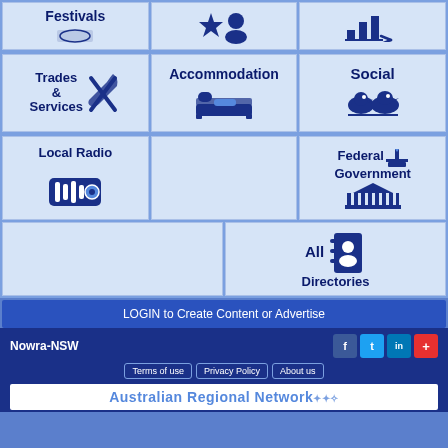[Figure (infographic): Grid of navigation tiles: Festivals, group/star icon, bar chart icon, Trades & Services with tools, Accommodation with bed icon, Social with birds, Local Radio with radio icon, empty cell, Federal Government with parliament icon, empty cell, All Directories with address book icon]
LOGIN to Create Content or Advertise
Nowra-NSW
Terms of use  Privacy Policy  About us
Australian Regional Network